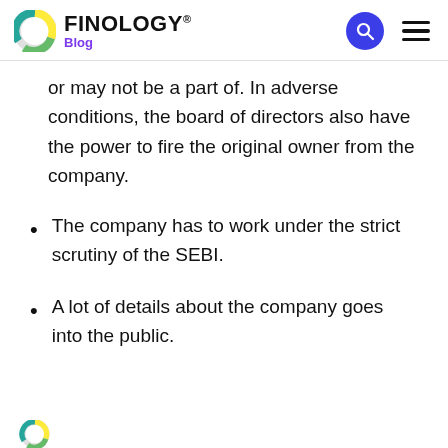FINOLOGY® Blog
or may not be a part of. In adverse conditions, the board of directors also have the power to fire the original owner from the company.
The company has to work under the strict scrutiny of the SEBI.
A lot of details about the company goes into the public.